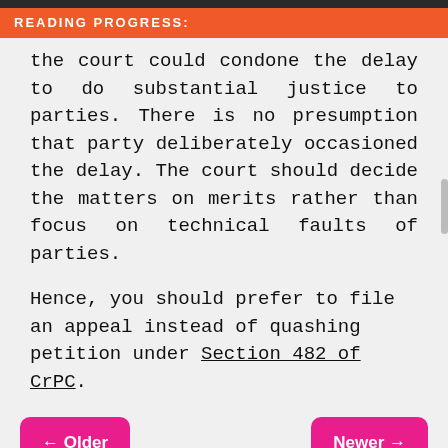READING PROGRESS:
the court could condone the delay to do substantial justice to parties. There is no presumption that party deliberately occasioned the delay. The court should decide the matters on merits rather than focus on technical faults of parties.
Hence, you should prefer to file an appeal instead of quashing petition under Section 482 of CrPC.